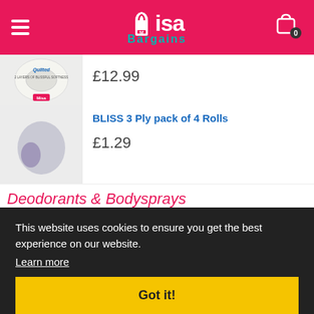[Figure (logo): Misa Bargains website header with pink background, hamburger menu, logo, and cart icon]
£12.99
BLISS 3 Ply pack of 4 Rolls
£1.29
Deodorants & Bodysprays
Right Guard Xtreme Heat Control A/P
This website uses cookies to ensure you get the best experience on our website.
Learn more
Got it!